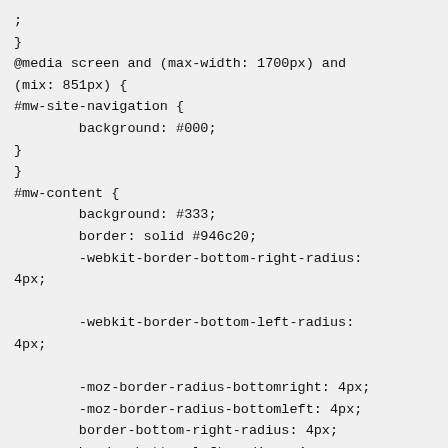;
}
@media screen and (max-width: 1700px) and
(mix: 851px) {
#mw-site-navigation {
        background: #000;
}
}
#mw-content {
        background: #333;
        border: solid #946c20;
        -webkit-border-bottom-right-radius:
4px;
        -webkit-border-bottom-left-radius:
4px;
        -moz-border-radius-bottomright: 4px;
        -moz-border-radius-bottomleft: 4px;
        border-bottom-right-radius: 4px;
        border-bottom-left-radius: 4px;
}
#